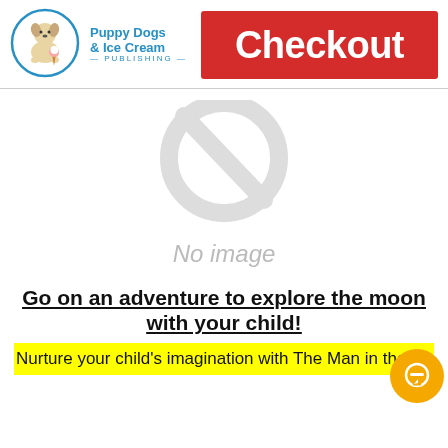[Figure (logo): Puppy Dogs & Ice Cream Publishing logo — circle with puppy illustration in blue, text 'Puppy Dogs & Ice Cream' in blue, '— PUBLISHING —' below]
Checkout
[Figure (other): No image placeholder — large gray circle with phone/no-image icon, text 'No image' in gray italic]
Go on an adventure to explore the moon with your child!
Nurture your child's imagination with The Man in the